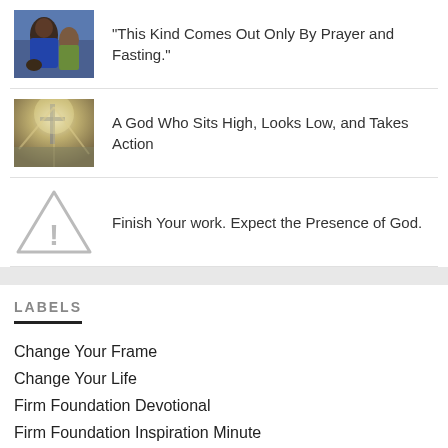[Figure (photo): Photo of people praying together, one person in a blue jacket]
"This Kind Comes Out Only By Prayer and Fasting."
[Figure (photo): Photo of a cross silhouetted against a bright sky with light rays]
A God Who Sits High, Looks Low, and Takes Action
[Figure (illustration): Warning triangle icon with exclamation mark]
Finish Your work. Expect the Presence of God.
LABELS
Change Your Frame
Change Your Life
Firm Foundation Devotional
Firm Foundation Inspiration Minute